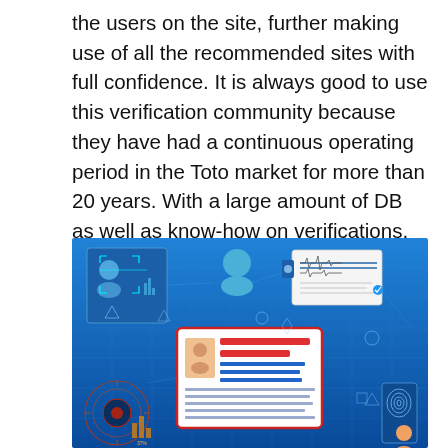the users on the site, further making use of all the recommended sites with full confidence. It is always good to use this verification community because they have had a continuous operating period in the Toto market for more than 20 years. With a large amount of DB as well as know-how on verifications, they are the ideal choice to make in the entire market.
[Figure (illustration): Digital identity verification illustration on blue background showing face recognition, a person profile with audio waveform panel, an ID card with photo in center (red header lines, blue text lines), a fingerprint scanner, and circular tech/data elements.]